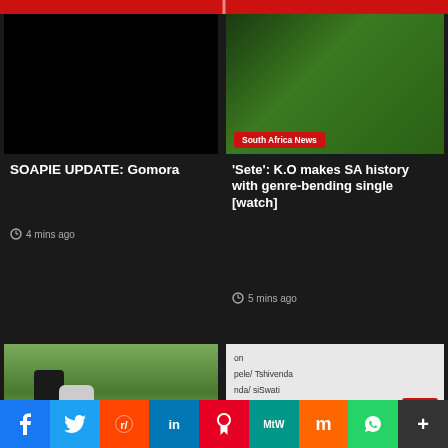[Figure (screenshot): Red top navigation bar strip]
[Figure (photo): Dark/black image placeholder for Gomora soapie article]
SOAPIE UPDATE: Gomora
4 mins ago
[Figure (photo): Person in green jacket, South Africa News badge]
'Sete': K.O makes SA history with genre-bending single [watch]
5 mins ago
[Figure (photo): Two people standing outdoors on a street]
[Figure (screenshot): White card with language list: Tshivenda, siSwati, Xitsonga, English, Setswana, Sesotho]
[Figure (infographic): Social media sharing bar: Facebook, Twitter, Reddit, LinkedIn, Pinterest, MeWe, Mix, WhatsApp, More]